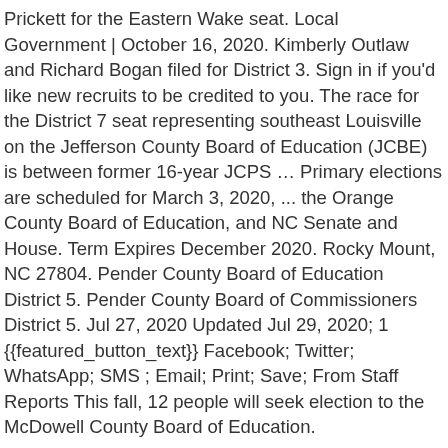Prickett for the Eastern Wake seat. Local Government | October 16, 2020. Kimberly Outlaw and Richard Bogan filed for District 3. Sign in if you'd like new recruits to be credited to you. The race for the District 7 seat representing southeast Louisville on the Jefferson County Board of Education (JCBE) is between former 16-year JCPS … Primary elections are scheduled for March 3, 2020, ... the Orange County Board of Education, and NC Senate and House. Term Expires December 2020. Rocky Mount, NC 27804. Pender County Board of Education District 5. Pender County Board of Commissioners District 5. Jul 27, 2020 Updated Jul 29, 2020; 1 {{featured_button_text}} Facebook; Twitter; WhatsApp; SMS ; Email; Print; Save; From Staff Reports This fall, 12 people will seek election to the McDowell County Board of Education.